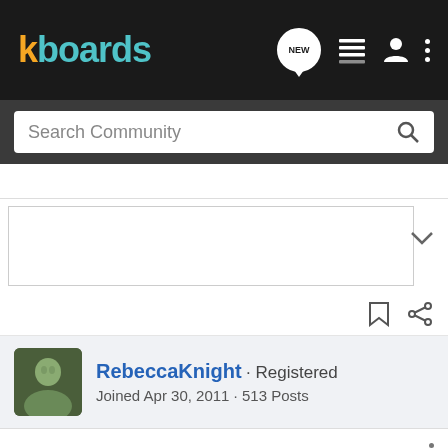kboards
Search Community
RebeccaKnight · Registered
Joined Apr 30, 2011 · 513 Posts
#7 · May 31, 2011
Congrats, David! 😁